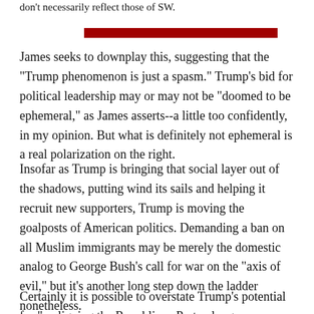don't necessarily reflect those of SW.
[Figure (other): Red horizontal decorative bar]
James seeks to downplay this, suggesting that the "Trump phenomenon is just a spasm." Trump's bid for political leadership may or may not be "doomed to be ephemeral," as James asserts--a little too confidently, in my opinion. But what is definitely not ephemeral is a real polarization on the right.
Insofar as Trump is bringing that social layer out of the shadows, putting wind its sails and helping it recruit new supporters, Trump is moving the goalposts of American politics. Demanding a ban on all Muslim immigrants may be merely the domestic analog to George Bush's call for war on the "axis of evil," but it's another long step down the ladder nonetheless.
Certainly it is possible to overstate Trump's potential for "realigning the Republican Party along more